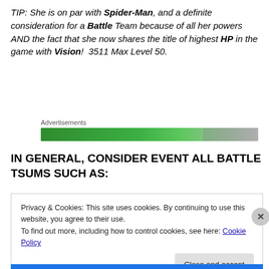TIP: She is on par with Spider-Man, and a definite consideration for a Battle Team because of all her powers AND the fact that she now shares the title of highest HP in the game with Vision!  3511 Max Level 50.
Advertisements
[Figure (other): Green advertisement banner bar]
IN GENERAL, CONSIDER EVENT ALL BATTLE TSUMS SUCH AS:
Privacy & Cookies: This site uses cookies. By continuing to use this website, you agree to their use.
To find out more, including how to control cookies, see here: Cookie Policy